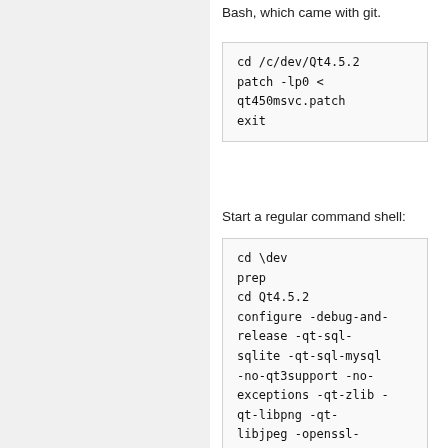Bash, which came with git.
cd /c/dev/Qt4.5.2
patch -lp0 <
qt450msvc.patch
exit
Start a regular command shell:
cd \dev
prep
cd Qt4.5.2
configure -debug-and-release -qt-sql-sqlite -qt-sql-mysql -no-qt3support -no-exceptions -qt-zlib -qt-libpng -qt-libjpeg -openssl-linked -dbus-linked -I
c:\dev\OpenSSL\include
-L c:\dev\OpenSSL\lib